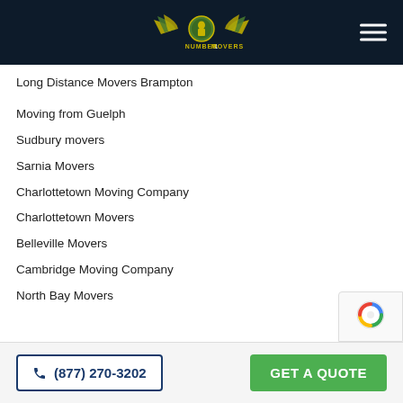[Figure (logo): Number 1 Movers logo with winged emblem on dark navy header]
Long Distance Movers Brampton
Moving from Guelph
Sudbury movers
Sarnia Movers
Charlottetown Moving Company
Charlottetown Movers
Belleville Movers
Cambridge Moving Company
North Bay Movers
☎ (877) 270-3202
GET A QUOTE